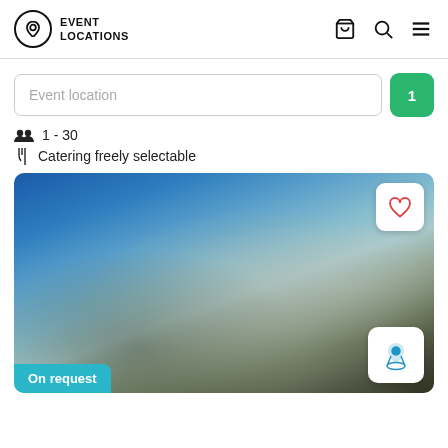EVENT LOCATIONS
Event location
1
1 - 30
Catering freely selectable
[Figure (photo): Blurred outdoor landscape photograph with blue sky and green/brown terrain, used as event location card image. Contains a heart (favorite) button in top-right and a map pin button in bottom-right. An 'On request' badge is in the bottom-left.]